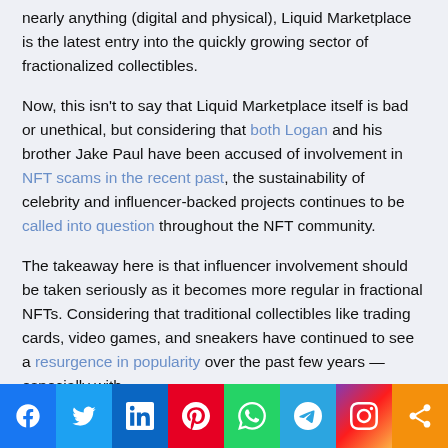nearly anything (digital and physical), Liquid Marketplace is the latest entry into the quickly growing sector of fractionalized collectibles.
Now, this isn't to say that Liquid Marketplace itself is bad or unethical, but considering that both Logan and his brother Jake Paul have been accused of involvement in NFT scams in the recent past, the sustainability of celebrity and influencer-backed projects continues to be called into question throughout the NFT community.
The takeaway here is that influencer involvement should be taken seriously as it becomes more regular in fractional NFTs. Considering that traditional collectibles like trading cards, video games, and sneakers have continued to see a resurgence in popularity over the past few years — especially with